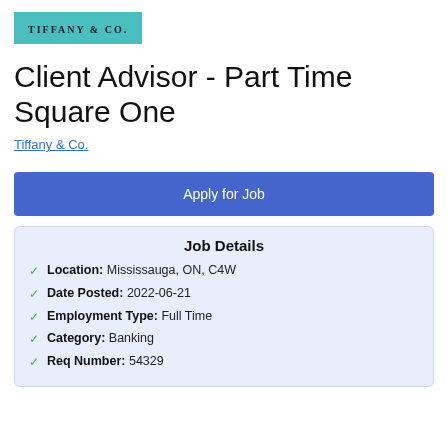[Figure (logo): Tiffany & Co. logo on teal/aqua background]
Client Advisor - Part Time Square One
Tiffany & Co.
Apply for Job
Job Details
Location: Mississauga, ON, C4W
Date Posted: 2022-06-21
Employment Type: Full Time
Category: Banking
Req Number: 54329